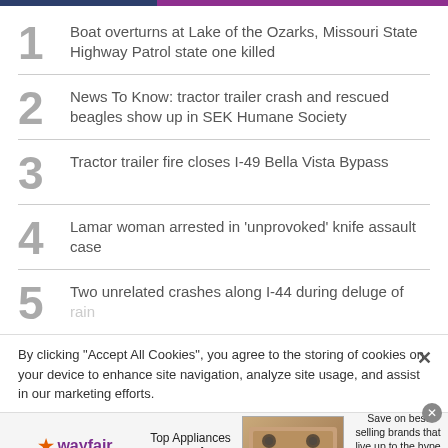1 Boat overturns at Lake of the Ozarks, Missouri State Highway Patrol state one killed
2 News To Know: tractor trailer crash and rescued beagles show up in SEK Humane Society
3 Tractor trailer fire closes I-49 Bella Vista Bypass
4 Lamar woman arrested in 'unprovoked' knife assault case
5 Two unrelated crashes along I-44 during deluge of rain
By clicking “Accept All Cookies”, you agree to the storing of cookies on your device to enhance site navigation, analyze site usage, and assist in our marketing efforts.
[Figure (infographic): Wayfair advertisement banner: Top Appliances Low Prices, stove image, Save on best selling brands that live up to the hype, Shop now button]